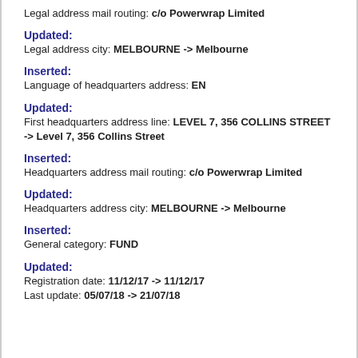Legal address mail routing: c/o Powerwrap Limited
Updated:
Legal address city: MELBOURNE -> Melbourne
Inserted:
Language of headquarters address: EN
Updated:
First headquarters address line: LEVEL 7, 356 COLLINS STREET -> Level 7, 356 Collins Street
Inserted:
Headquarters address mail routing: c/o Powerwrap Limited
Updated:
Headquarters address city: MELBOURNE -> Melbourne
Inserted:
General category: FUND
Updated:
Registration date: 11/12/17 -> 11/12/17
Last update: 05/07/18 -> 21/07/18